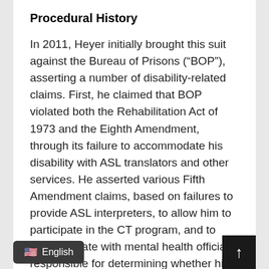Procedural History
In 2011, Heyer initially brought this suit against the Bureau of Prisons (“BOP”), asserting a number of disability-related claims. First, he claimed that BOP violated both the Rehabilitation Act of 1973 and the Eighth Amendment, through its failure to accommodate his disability with ASL translators and other services. He asserted various Fifth Amendment claims, based on failures to provide ASL interpreters, to allow him to participate in the CT program, and to communicate with mental health officials responsible for determining whether his civil commitment continues. Heyer brought First Amendment claims based on BOP’s restrictive access to TTY devices, and failure to provide access to a videophone. Heyer brought another [claim under] the First Amendment, as well as the [Religious Free]dom Restoration Act, based on the